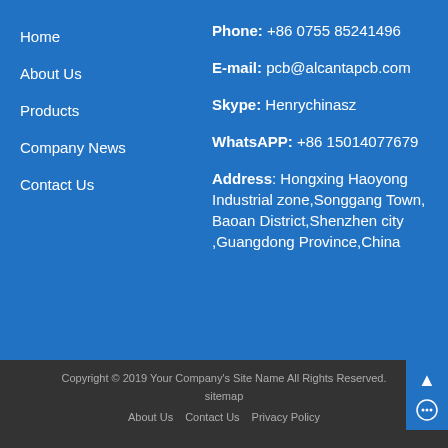Home
About Us
Products
Company News
Contact Us
Phone: +86 0755 85241496
E-mail: pcb@alcantapcb.com
Skype: Henrychinasz
WhatsAPP: +86 15014077679
Address: Hongxing Haoyong Industrial zone,Songgang Town, Baoan District,Shenzhen city ,Guangdong Province,China
Copyright © 2019 Your Company's Site Name All Rights Reserved.
sitemap
About Us   Contact Us   Privacy Policy